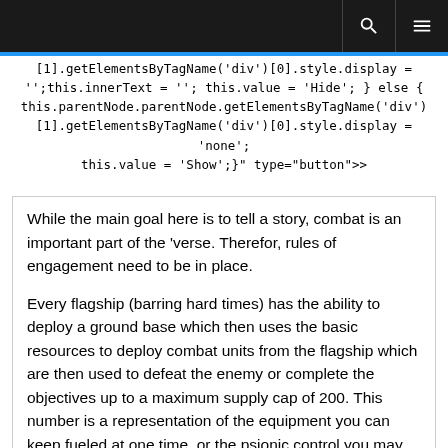[1].getElementsByTagName('div')[0].style.display = '';this.innerText = ''; this.value = 'Hide'; } else { this.parentNode.parentNode.getElementsByTagName('div')[1].getElementsByTagName('div')[0].style.display = 'none'; this.value = 'Show';}" type="button">
While the main goal here is to tell a story, combat is an important part of the 'verse. Therefor, rules of engagement need to be in place.

Every flagship (barring hard times) has the ability to deploy a ground base which then uses the basic resources to deploy combat units from the flagship which are then used to defeat the enemy or complete the objectives up to a maximum supply cap of 200. This number is a representation of the equipment you can keep fueled at one time, or the psionic control you may wield over your minions, or any other lore explanation for the in-game cap of 200 supply.